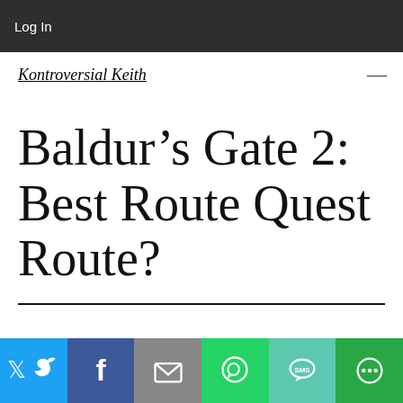Log In
Kontroversial Keith
Baldur’s Gate 2: Best Route Quest Route?
[Figure (infographic): Social share bar with Twitter, Facebook, Email, WhatsApp, SMS, and More buttons]